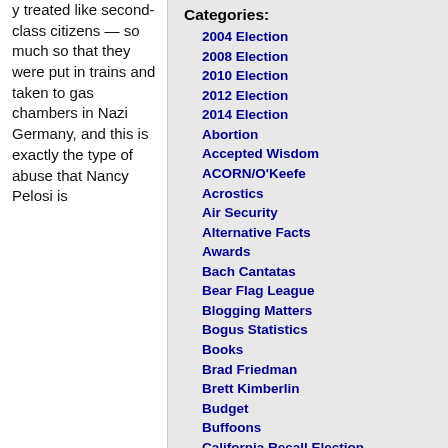y treated like second-class citizens — so much so that they were put in trains and taken to gas chambers in Nazi Germany, and this is exactly the type of abuse that Nancy Pelosi is
Categories:
2004 Election
2008 Election
2010 Election
2012 Election
2014 Election
Abortion
Accepted Wisdom
ACORN/O'Keefe
Acrostics
Air Security
Alternative Facts
Awards
Bach Cantatas
Bear Flag League
Blogging Matters
Bogus Statistics
Books
Brad Friedman
Brett Kimberlin
Budget
Buffoons
California Recall Election
Civil Liberties
Constitutional Law
Constitutional Vanguard
Court Decisions
Crime
Current Events
Deport the Criminals First
Dog Trainer
Economics